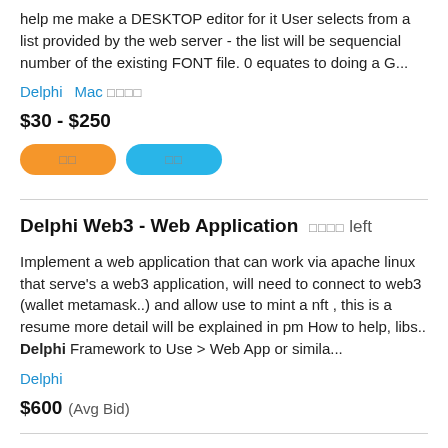help me make a DESKTOP editor for it User selects from a list provided by the web server - the list will be sequencial number of the existing FONT file. 0 equates to doing a G...
Delphi   Mac 🀫🀫🀫🀫
$30 - $250
[Figure (other): Two pill-shaped buttons: orange button and blue button with illegible text]
Delphi Web3 - Web Application   🀫🀫🀫🀫 left
Implement a web application that can work via apache linux that serve's a web3 application, will need to connect to web3 (wallet metamask..) and allow use to mint a nft , this is a resume more detail will be explained in pm How to help, libs.. Delphi Framework to Use > Web App or simila...
Delphi
$600   (Avg Bid)